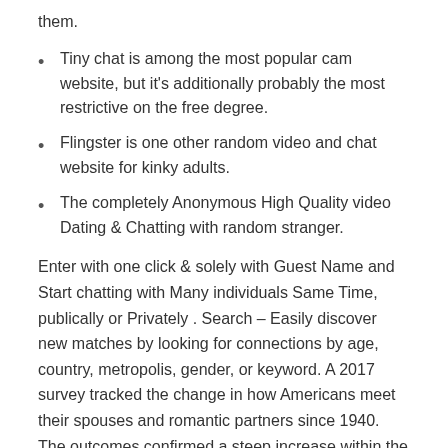them.
Tiny chat is among the most popular cam website, but it's additionally probably the most restrictive on the free degree.
Flingster is one other random video and chat website for kinky adults.
The completely Anonymous High Quality video Dating & Chatting with random stranger.
Enter with one click & solely with Guest Name and Start chatting with Many individuals Same Time, publically or Privately . Search – Easily discover new matches by looking for connections by age, country, metropolis, gender, or keyword. A 2017 survey tracked the change in how Americans meet their spouses and romantic partners since 1940. The outcomes confirmed a steep increase within the proportion of couples whose first interaction occurred through on-line media. Use, by you or one shopper, in a single end